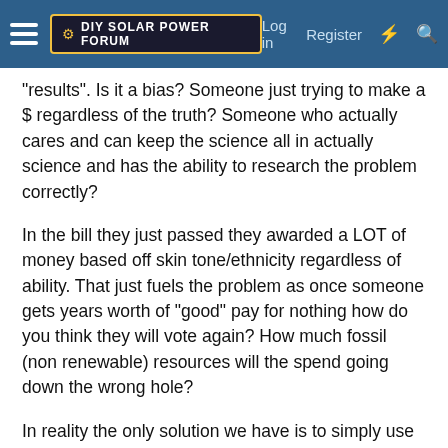DIY Solar Power Forum — Log in  Register
"results". Is it a bias? Someone just trying to make a $ regardless of the truth? Someone who actually cares and can keep the science all in actually science and has the ability to research the problem correctly?
In the bill they just passed they awarded a LOT of money based off skin tone/ethnicity regardless of ability. That just fuels the problem as once someone gets years worth of "good" pay for nothing how do you think they will vote again? How much fossil (non renewable) resources will the spend going down the wrong hole?
In reality the only solution we have is to simply use what we have as best as we can. Recycle, invest, invent, grow, manufacturer all with the end goal in site of not harming Mother Earth.
But Humanity just aint built like that. For the same reason we are in this mess to begin with, too many people, too many who